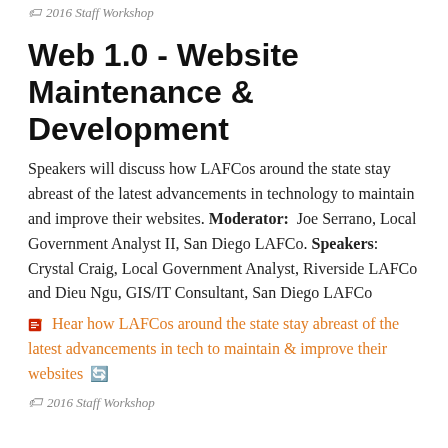2016 Staff Workshop
Web 1.0 - Website Maintenance & Development
Speakers will discuss how LAFCos around the state stay abreast of the latest advancements in technology to maintain and improve their websites. Moderator: Joe Serrano, Local Government Analyst II, San Diego LAFCo. Speakers: Crystal Craig, Local Government Analyst, Riverside LAFCo and Dieu Ngu, GIS/IT Consultant, San Diego LAFCo
Hear how LAFCos around the state stay abreast of the latest advancements in tech to maintain & improve their websites
2016 Staff Workshop
Web 2.0 - Tips & Tricks to Improve your LAFCo Website